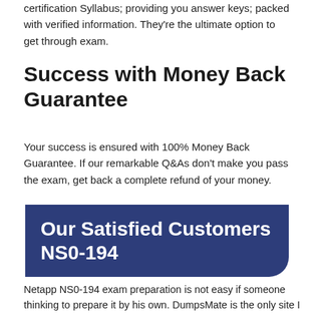certification Syllabus; providing you answer keys; packed with verified information. They're the ultimate option to get through exam.
Success with Money Back Guarantee
Your success is ensured with 100% Money Back Guarantee. If our remarkable Q&As don't make you pass the exam, get back a complete refund of your money.
[Figure (infographic): Dark blue banner with rounded bottom-right corner containing white bold text: 'Our Satisfied Customers NS0-194']
Netapp NS0-194 exam preparation is not easy if someone thinking to prepare it by his own. DumpsMate is the only site I found which